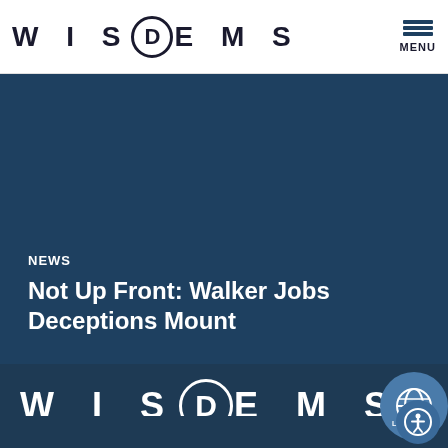WISDEMS — MENU
[Figure (screenshot): Dark teal hero image area with NEWS label and article title overlay]
Not Up Front: Walker Jobs Deceptions Mount
[Figure (logo): Wisconsin Democrats (WISDEMS) logo in white on dark navy footer background, with language and accessibility buttons]
WISDEMS footer with LANGUAGE and accessibility icons